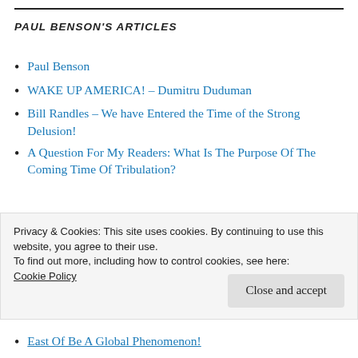PAUL BENSON'S ARTICLES
Paul Benson
WAKE UP AMERICA! – Dumitru Duduman
Bill Randles – We have Entered the Time of the Strong Delusion!
A Question For My Readers: What Is The Purpose Of The Coming Time Of Tribulation?
Privacy & Cookies: This site uses cookies. By continuing to use this website, you agree to their use.
To find out more, including how to control cookies, see here: Cookie Policy
East Of Be A Global Phenomenon!